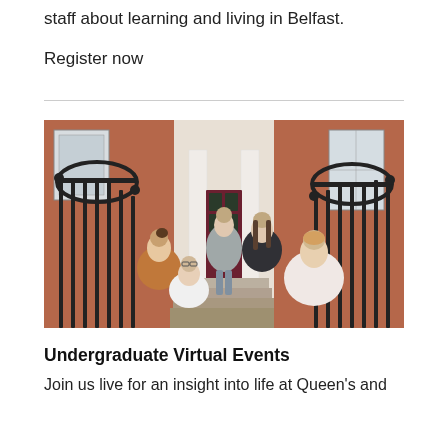staff about learning and living in Belfast.
Register now
[Figure (photo): Five students sitting on stone steps outside a red-brick building with a dark red door and black iron railings, chatting and smiling.]
Undergraduate Virtual Events
Join us live for an insight into life at Queen's and